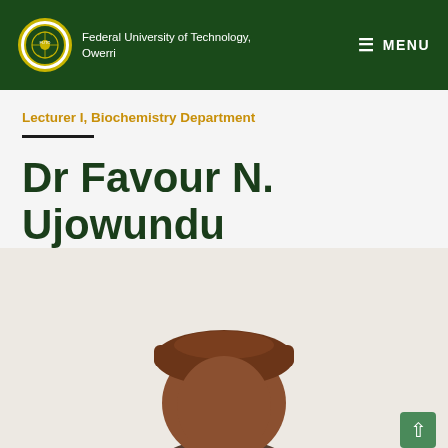Federal University of Technology, Owerri | MENU
Lecturer I, Biochemistry Department
Dr Favour N. Ujowundu
[Figure (photo): Partial photograph of Dr Favour N. Ujowundu, showing the top of a person's head with a brown cap/hat, against a light background. A scroll-to-top button is visible at the bottom right.]